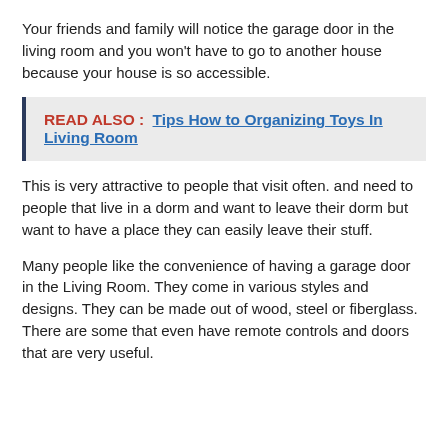Your friends and family will notice the garage door in the living room and you won't have to go to another house because your house is so accessible.
READ ALSO :  Tips How to Organizing Toys In Living Room
This is very attractive to people that visit often. and need to people that live in a dorm and want to leave their dorm but want to have a place they can easily leave their stuff.
Many people like the convenience of having a garage door in the Living Room. They come in various styles and designs. They can be made out of wood, steel or fiberglass. There are some that even have remote controls and doors that are very useful.